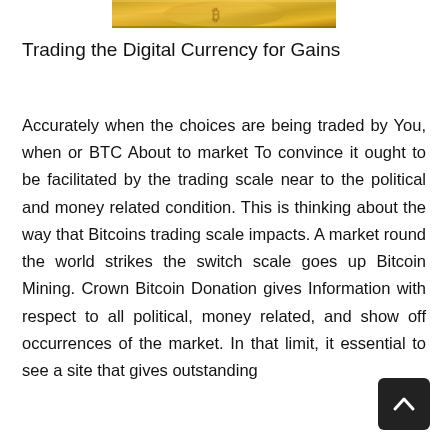[Figure (photo): Partial view of a golden Bitcoin coin at the top of the page]
Trading the Digital Currency for Gains
Accurately when the choices are being traded by You, when or BTC About to market To convince it ought to be facilitated by the trading scale near to the political and money related condition. This is thinking about the way that Bitcoins trading scale impacts. A market round the world strikes the switch scale goes up Bitcoin Mining. Crown Bitcoin Donation gives Information with respect to all political, money related, and show off occurrences of the market. In that limit, it essential to see a site that gives outstanding